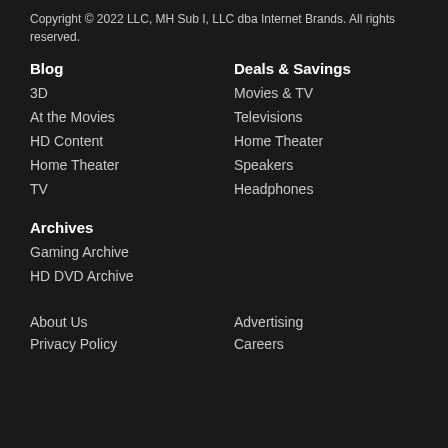Copyright © 2022 LLC, MH Sub I, LLC dba Internet Brands. All rights reserved.
Blog
Deals & Savings
3D
Movies & TV
At the Movies
Televisions
HD Content
Home Theater
Home Theater
Speakers
TV
Headphones
Archives
Gaming Archive
HD DVD Archive
About Us
Advertising
Privacy Policy
Careers